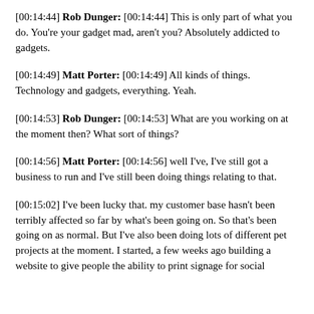[00:14:44] Rob Dunger: [00:14:44] This is only part of what you do. You're your gadget mad, aren't you? Absolutely addicted to gadgets.
[00:14:49] Matt Porter: [00:14:49] All kinds of things. Technology and gadgets, everything. Yeah.
[00:14:53] Rob Dunger: [00:14:53] What are you working on at the moment then? What sort of things?
[00:14:56] Matt Porter: [00:14:56] well I've, I've still got a business to run and I've still been doing things relating to that.
[00:15:02] I've been lucky that. my customer base hasn't been terribly affected so far by what's been going on. So that's been going on as normal. But I've also been doing lots of different pet projects at the moment. I started, a few weeks ago building a website to give people the ability to print signage for social